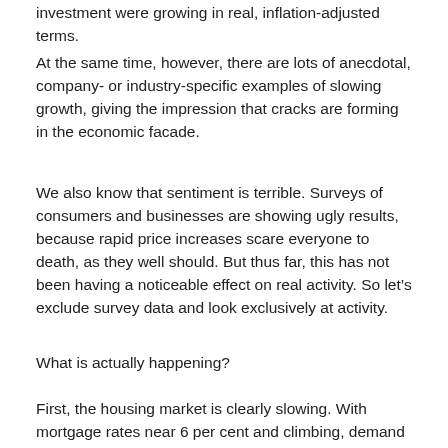investment were growing in real, inflation-adjusted terms.
At the same time, however, there are lots of anecdotal, company- or industry-specific examples of slowing growth, giving the impression that cracks are forming in the economic facade.
We also know that sentiment is terrible. Surveys of consumers and businesses are showing ugly results, because rapid price increases scare everyone to death, as they well should. But thus far, this has not been having a noticeable effect on real activity. So let's exclude survey data and look exclusively at activity.
What is actually happening?
First, the housing market is clearly slowing. With mortgage rates near 6 per cent and climbing, demand is getting